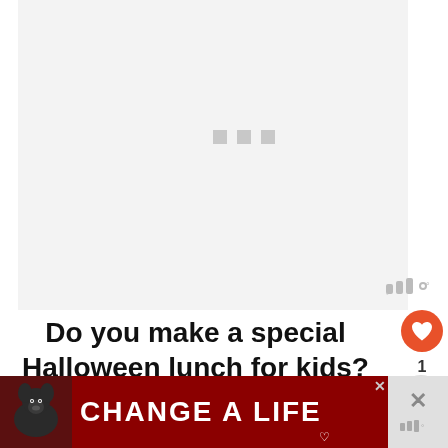[Figure (photo): Light gray placeholder image area with three small gray loading squares in the center and a Moovit-style logo watermark at the bottom right]
Do you make a special Halloween lunch for kids? Tell us about it in the
[Figure (infographic): Orange circular heart/like button showing count of 1, and a share button below it]
[Figure (infographic): Dark red advertisement banner reading CHANGE A LIFE with a black dog image on the left, a close X button, and a heart icon. Right side shows gray panel with X mark and Moovit logo.]